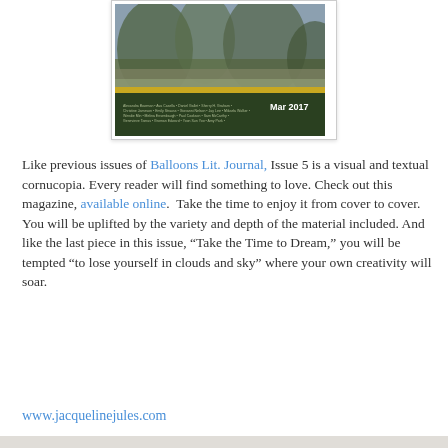[Figure (illustration): Magazine cover of Balloons Lit. Journal, Mar 2017, showing a nature/forest scene with a horizontal gold/yellow stripe and contributor names listed at bottom on a dark green background.]
Like previous issues of Balloons Lit. Journal, Issue 5 is a visual and textual cornucopia. Every reader will find something to love. Check out this magazine, available online.  Take the time to enjoy it from cover to cover. You will be uplifted by the variety and depth of the material included. And like the last piece in this issue, “Take the Time to Dream,” you will be tempted “to lose yourself in clouds and sky” where your own creativity will soar.
www.jacquelinejules.com